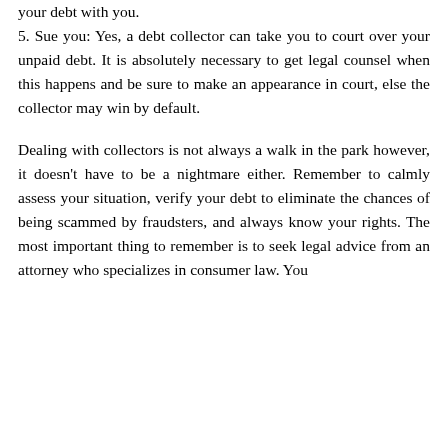your debt with you.
5. Sue you: Yes, a debt collector can take you to court over your unpaid debt. It is absolutely necessary to get legal counsel when this happens and be sure to make an appearance in court, else the collector may win by default.
Dealing with collectors is not always a walk in the park however, it doesn’t have to be a nightmare either. Remember to calmly assess your situation, verify your debt to eliminate the chances of being scammed by fraudsters, and always know your rights. The most important thing to remember is to seek legal advice from an attorney who specializes in consumer law. You